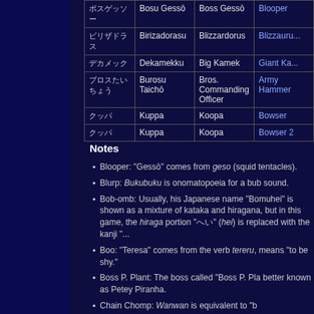| Japanese | Romanization | Localization | English |
| --- | --- | --- | --- |
| ボスゲッソー | Bosu Gessō | Boss Gessō | Blooper |
| ビリザドラス | Birizadorasu | Blizzardorus | Blizzauru... |
| デカメック | Dekamekku | Big Kamek | Giant Ka... |
| ブロスたいちょう | Burosu Taichō | Bros. Commanding Officer | Army Hammer |
| クッパ | Kuppa | Koopa | Bowser |
| クッパ | Kuppa | Koopa | Bowser 2 |
Notes
Blooper: "Gessō" comes from geso (squid tentacles).
Blurp: Bukubuku is onomatopoeia for a bub sound.
Bob-omb: Usually, his Japanese name "Bomuhei" is shown as a mixture of kataka and hiragana, but in this game, the hiragana portion "へい" (hei) is replaced with the kanji "
Boo: "Teresa" comes from the verb tereru, means "to be shy."
Boss P. Plant: The boss called "Boss P. Pla better known as Petey Piranha.
Chain Chomp: Wanwan is equivalent to "b